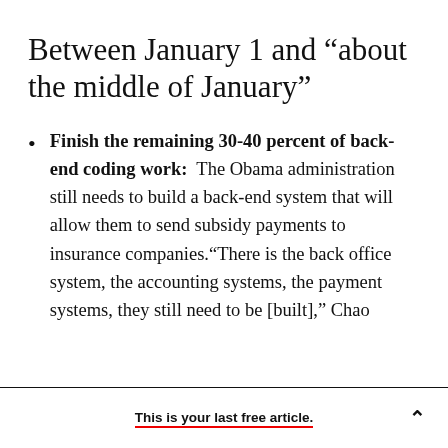Between January 1 and "about the middle of January"
Finish the remaining 30-40 percent of back-end coding work: The Obama administration still needs to build a back-end system that will allow them to send subsidy payments to insurance companies.“There is the back office system, the accounting systems, the payment systems, they still need to be [built],” Chao
This is your last free article.